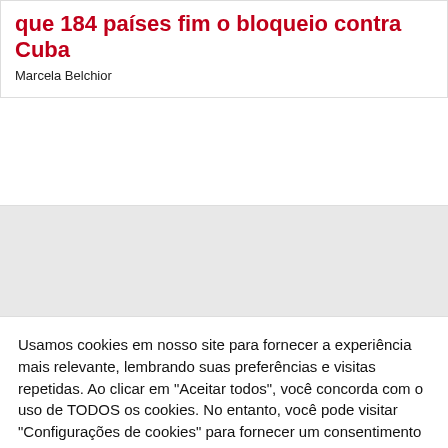que 184 países fim o bloqueio contra Cuba
Marcela Belchior
[Figure (photo): Partially visible image, mostly gray/white, showing a faint background scene]
Usamos cookies em nosso site para fornecer a experiência mais relevante, lembrando suas preferências e visitas repetidas. Ao clicar em "Aceitar todos", você concorda com o uso de TODOS os cookies. No entanto, você pode visitar "Configurações de cookies" para fornecer um consentimento controlado.
Configurações de cookies
Aceitar tudo
Leia mais